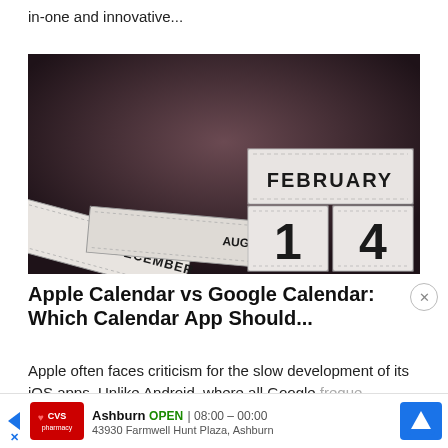in-one and innovative...
[Figure (photo): Photo of physical calendar blocks showing months DECEMBER, AUGUST, and FEBRUARY with dates 1 and 14 on a dark brown textured background.]
Apple Calendar vs Google Calendar: Which Calendar App Should...
Apple often faces criticism for the slow development of its iOS apps. Unlike Android, where all Google freque... y...
[Figure (other): Advertisement bar: CVS pharmacy logo, Ashburn OPEN 08:00-00:00, 43930 Farmwell Hunt Plaza, Ashburn, navigation arrow icon]